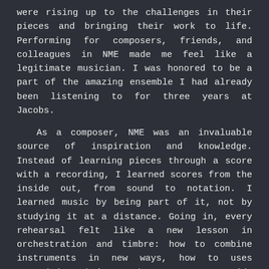were rising up to the challenges in their pieces and bringing their work to life. Performing for composers, friends, and colleagues in NME made me feel like a legitimate musician. I was honored to be a part of the amazing ensemble I had already been listening to for three years at Jacobs.
As a composer, NME was an invaluable source of inspiration and knowledge. Instead of learning pieces through a score with a recording, I learned scores from the inside out, from sound to notation. I learned music by being part of it, not by studying it at a distance. Going in, every rehearsal felt like a new lesson in orchestration and timbre: how to combine instruments in new ways, how to uses extended techniques, how to score rapid, flickering passages, how to write good, engaging percussion parts, and how to weave intricate patterns among an ensemble.
What made NME most meaningful for me was the way it blended my passions: horn playing and